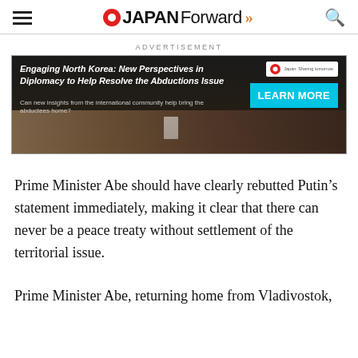JAPAN Forward
ADVERTISEMENT
[Figure (photo): Advertisement banner for 'Engaging North Korea: New Perspectives in Diplomacy to Help Resolve the Abductions Issue' with a LEARN MORE button and a photo of people seated at a conference table.]
Prime Minister Abe should have clearly rebutted Putin's statement immediately, making it clear that there can never be a peace treaty without settlement of the territorial issue.
Prime Minister Abe, returning home from Vladivostok,